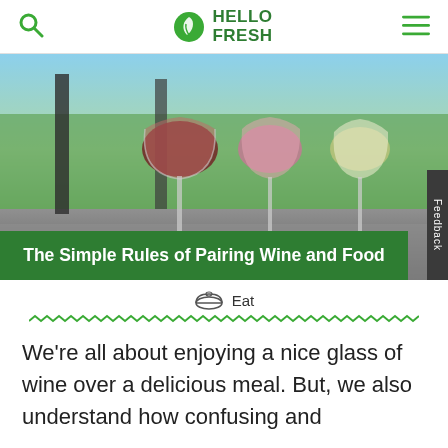HelloFresh
[Figure (photo): Three wine glasses filled with red, rosé, and white wine on an outdoor table with green vineyard in background. Green banner overlay reads: The Simple Rules of Pairing Wine and Food]
The Simple Rules of Pairing Wine and Food
Eat
We're all about enjoying a nice glass of wine over a delicious meal. But, we also understand how confusing and